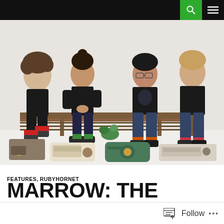Navigation bar with search and menu icons
[Figure (photo): Four young band members (three male, one female) sitting on a wooden bench in front of a white background, surrounded by vintage radios on the floor. They are casually dressed in dark clothes with colorful socks. The woman has her hair in a bun and wears a black sleeveless top. A plant is visible near the bench.]
FEATURES, RUBYHORNET
MARROW: THE SECOND TIME AROUND
Follow ...